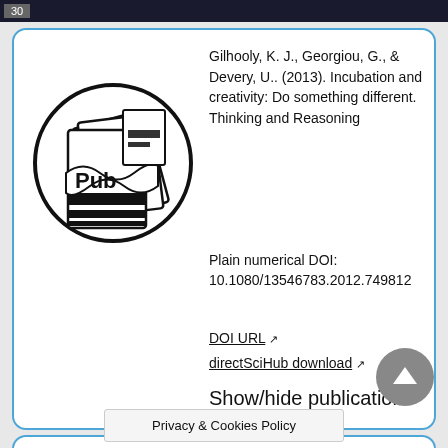30
[Figure (logo): Publication logo showing stylized books/journals with 'Pub' text in a circular design, black and white illustration]
Gilhooly, K. J., Georgiou, G., & Devery, U.. (2013). Incubation and creativity: Do something different. Thinking and Reasoning
Plain numerical DOI: 10.1080/13546783.2012.749812
DOI URL ↗
directSciHub download ↗
Show/hide publication abstract
Czernecka, K., & Szymura, B.
Privacy & Cookies Policy